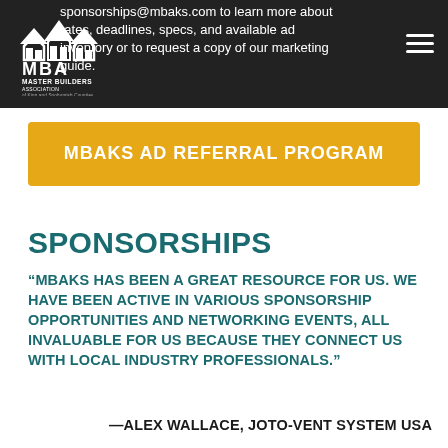sponsorships@mbaks.com to learn more about rates, deadlines, specs, and available ad inventory or to request a copy of our marketing guide.
[Figure (logo): Master Builders Association of King and Snohomish Counties logo]
MBAKS AD REFERRAL PROGRAM
SPONSORSHIPS
“MBAKS HAS BEEN A GREAT RESOURCE FOR US. WE HAVE BEEN ACTIVE IN VARIOUS SPONSORSHIP OPPORTUNITIES AND NETWORKING EVENTS, ALL INVALUABLE FOR US BECAUSE THEY CONNECT US WITH LOCAL INDUSTRY PROFESSIONALS.”
—ALEX WALLACE, JOTO-VENT SYSTEM USA